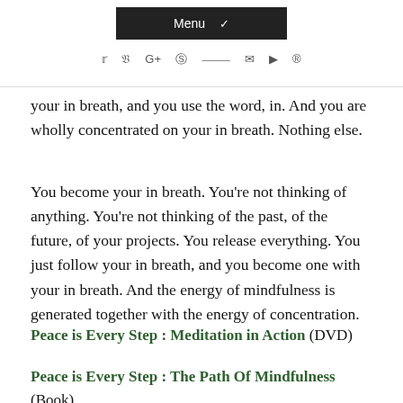Menu ✓ [social icons: twitter, facebook, google+, instagram, rss, email, youtube, pinterest]
your in breath, and you use the word, in. And you are wholly concentrated on your in breath. Nothing else.
You become your in breath. You're not thinking of anything. You're not thinking of the past, of the future, of your projects. You release everything. You just follow your in breath, and you become one with your in breath. And the energy of mindfulness is generated together with the energy of concentration.
Peace is Every Step : Meditation in Action (DVD)
Peace is Every Step : The Path Of Mindfulness (Book)